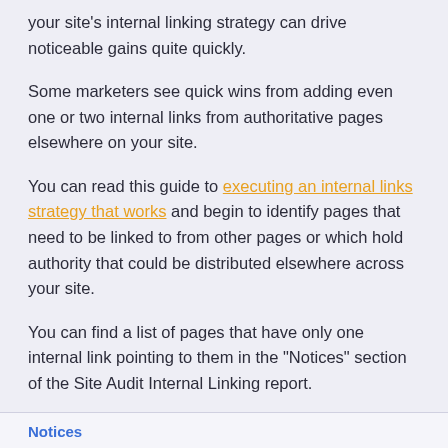your site's internal linking strategy can drive noticeable gains quite quickly.
Some marketers see quick wins from adding even one or two internal links from authoritative pages elsewhere on your site.
You can read this guide to executing an internal links strategy that works and begin to identify pages that need to be linked to from other pages or which hold authority that could be distributed elsewhere across your site.
You can find a list of pages that have only one internal link pointing to them in the "Notices" section of the Site Audit Internal Linking report.
Notices